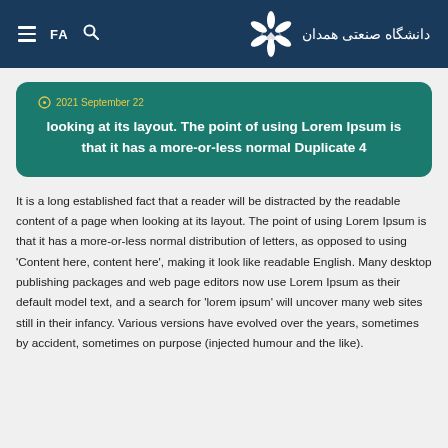FA  [search]  دانشگاه صنعتی همدان
2021 September 22
looking at its layout. The point of using Lorem Ipsum is that it has a more-or-less normal Duplicate 4
It is a long established fact that a reader will be distracted by the readable content of a page when looking at its layout. The point of using Lorem Ipsum is that it has a more-or-less normal distribution of letters, as opposed to using 'Content here, content here', making it look like readable English. Many desktop publishing packages and web page editors now use Lorem Ipsum as their default model text, and a search for 'lorem ipsum' will uncover many web sites still in their infancy. Various versions have evolved over the years, sometimes by accident, sometimes on purpose (injected humour and the like).